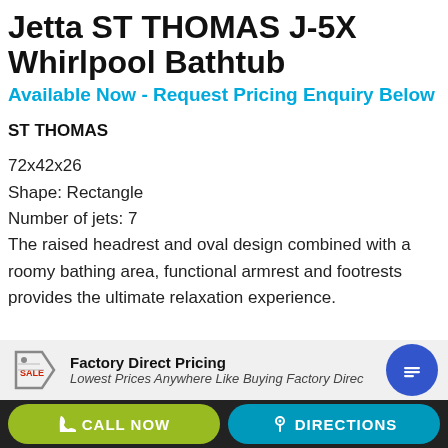Jetta ST THOMAS J-5X Whirlpool Bathtub
Available Now - Request Pricing Enquiry Below
ST THOMAS
72x42x26
Shape: Rectangle
Number of jets: 7
The raised headrest and oval design combined with a roomy bathing area, functional armrest and footrests provides the ultimate relaxation experience.
Factory Direct Pricing
Lowest Prices Anywhere Like Buying Factory Direc...